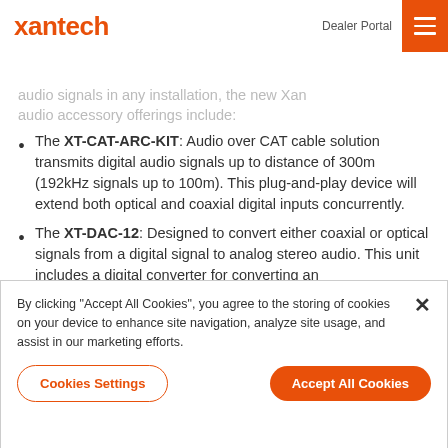xantech | Dealer Portal
audio signals in any installation, the new Xan audio accessory offerings include:
The XT-CAT-ARC-KIT: Audio over CAT cable solution transmits digital audio signals up to distance of 300m (192kHz signals up to 100m). This plug-and-play device will extend both optical and coaxial digital inputs concurrently.
The XT-DAC-12: Designed to convert either coaxial or optical signals from a digital signal to analog stereo audio. This unit includes a digital converter for converting an
By clicking “Accept All Cookies”, you agree to the storing of cookies on your device to enhance site navigation, analyze site usage, and assist in our marketing efforts.
Cookies Settings | Accept All Cookies